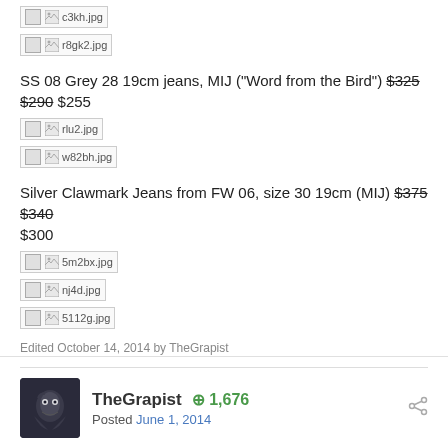[Figure (other): Broken image placeholder: c3kh.jpg]
[Figure (other): Broken image placeholder: r8gk2.jpg]
SS 08 Grey 28 19cm jeans, MIJ ("Word from the Bird") $325 $290 $255
[Figure (other): Broken image placeholder: rlu2.jpg]
[Figure (other): Broken image placeholder: w82bh.jpg]
Silver Clawmark Jeans from FW 06, size 30 19cm (MIJ) $375 $340 $300
[Figure (other): Broken image placeholder: 5m2bx.jpg]
[Figure (other): Broken image placeholder: nj4d.jpg]
[Figure (other): Broken image placeholder: 5112g.jpg]
Edited October 14, 2014 by TheGrapist
TheGrapist +1,676 Posted June 1, 2014